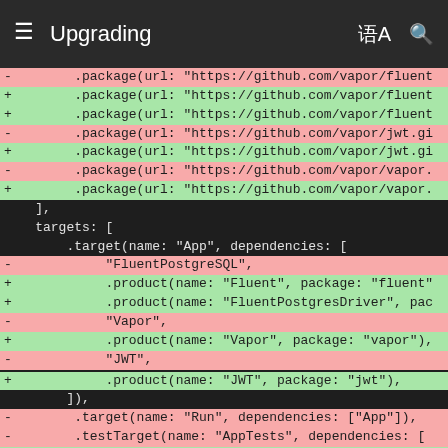Upgrading
[Figure (screenshot): Code diff showing Swift Package.swift changes with removed lines (red) and added lines (green) for fluent, jwt, vapor packages and target dependencies including FluentPostgreSQL, FluentPostgresDriver, Vapor, JWT products.]